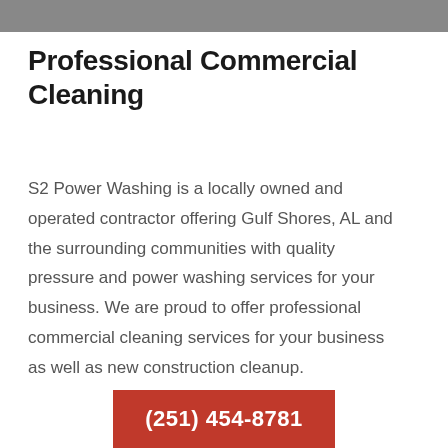[Figure (photo): Gray banner image at the top of the page]
Professional Commercial Cleaning
S2 Power Washing is a locally owned and operated contractor offering Gulf Shores, AL and the surrounding communities with quality pressure and power washing services for your business. We are proud to offer professional commercial cleaning services for your business as well as new construction cleanup.
(251) 454-8781